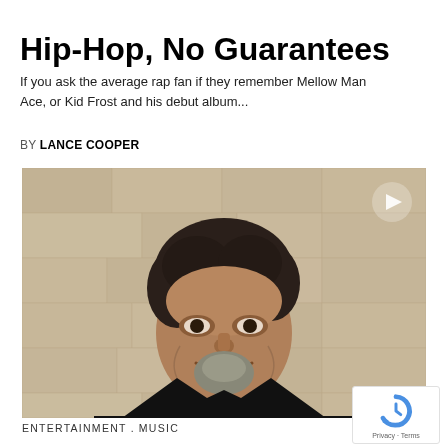Hip-Hop, No Guarantees
If you ask the average rap fan if they remember Mellow Man Ace, or Kid Frost and his debut album...
BY LANCE COOPER
[Figure (photo): A middle-aged man with curly dark hair and a salt-and-pepper goatee, smiling, wearing a black shirt, photographed against a stone/concrete wall background. A play button triangle icon is visible in the upper right of the image.]
ENTERTAINMENT  MUSIC